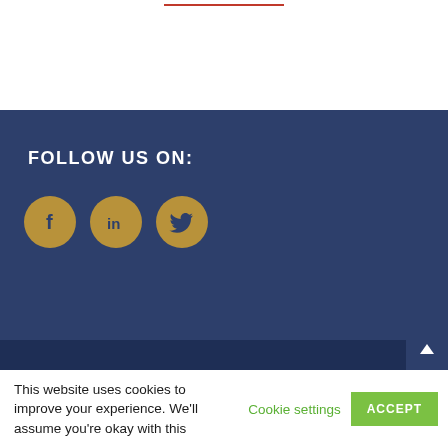FOLLOW US ON:
[Figure (illustration): Three social media icons in golden/tan circles: Facebook (f), LinkedIn (in), Twitter (bird)]
© Copyright 2020 Profitwatch | Site management by
This website uses cookies to improve your experience. We'll assume you're okay with this   Cookie settings   ACCEPT